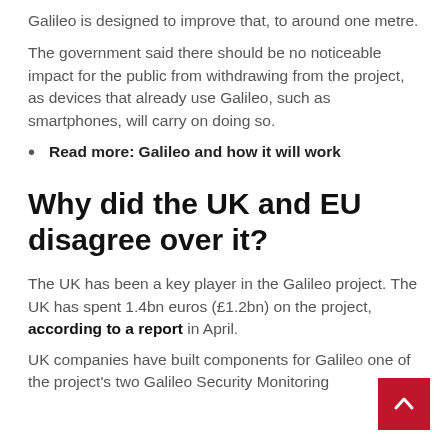Galileo is designed to improve that, to around one metre.
The government said there should be no noticeable impact for the public from withdrawing from the project, as devices that already use Galileo, such as smartphones, will carry on doing so.
Read more: Galileo and how it will work
Why did the UK and EU disagree over it?
The UK has been a key player in the Galileo project. The UK has spent 1.4bn euros (£1.2bn) on the project, according to a report in April.
UK companies have built components for Galileo one of the project's two Galileo Security Monitoring